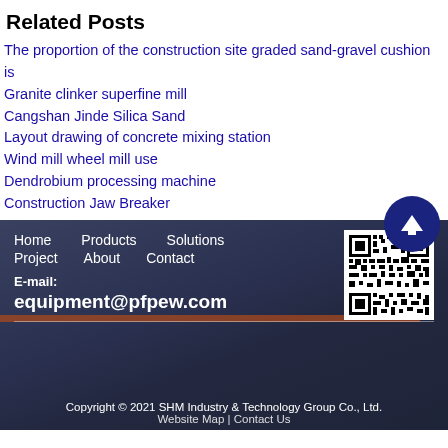Related Posts
The proportion of the construction site graded sand-gravel cushion is
Granite clinker superfine mill
Cangshan Jinde Silica Sand
Layout drawing of concrete mixing station
Wind mill wheel mill use
Dendrobium processing machine
Construction Jaw Breaker
[Figure (other): Scroll-to-top circular button with upward arrow, dark navy blue]
[Figure (other): Footer section with dark overlay on industrial building photo background, navigation links, QR code, email contact]
Copyright © 2021 SHM Industry & Technology Group Co., Ltd. Website Map | Contact Us